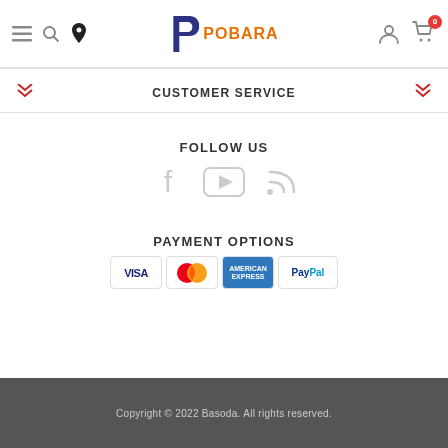[Figure (logo): Pobara logo with a stylized P icon in dark blue/purple and 'POBARA' text in orange]
CUSTOMER SERVICE
FOLLOW US
[Figure (illustration): Social media icons: Facebook, YouTube, RSS feed]
PAYMENT OPTIONS
[Figure (illustration): Payment method logos: Visa, MasterCard, American Express, PayPal]
Copyright © 2022 Basoda. All rights reserved.